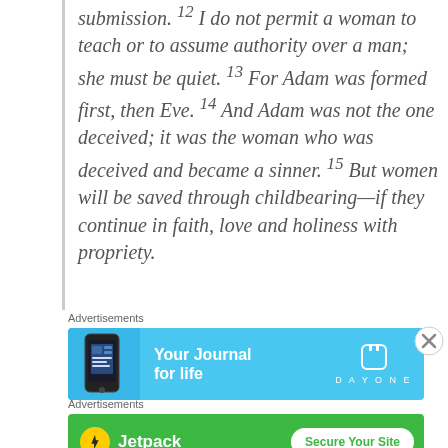submission. 12 I do not permit a woman to teach or to assume authority over a man; she must be quiet. 13 For Adam was formed first, then Eve. 14 And Adam was not the one deceived; it was the woman who was deceived and became a sinner. 15 But women will be saved through childbearing—if they continue in faith, love and holiness with propriety.
[Figure (other): Advertisement banner for Day One journal app with blue background, phone graphic, text 'Your Journal for life', and Day One logo/wordmark]
[Figure (other): Advertisement banner for Jetpack with green background, Jetpack logo, and 'Secure Your Site' button]